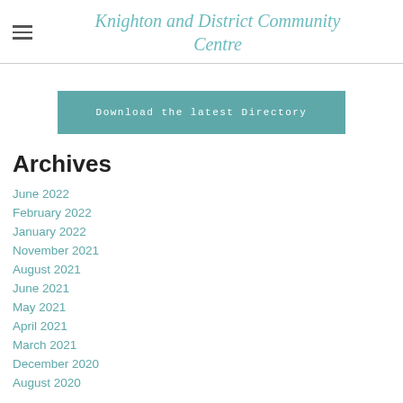Knighton and District Community Centre
Download the latest Directory
Archives
June 2022
February 2022
January 2022
November 2021
August 2021
June 2021
May 2021
April 2021
March 2021
December 2020
August 2020